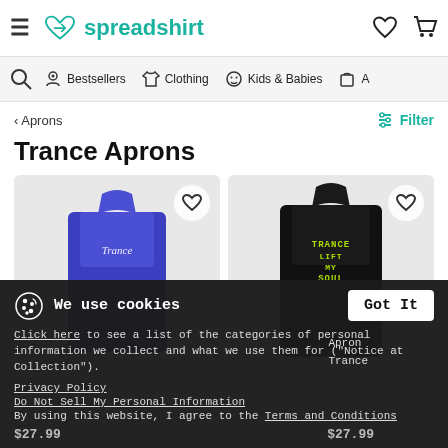spreadshirt — Hamburger menu, logo, heart icon, cart icon
Search | Bestsellers | Clothing | Kids & Babies | A...
< Aprons
Filter
Trance Aprons
[Figure (photo): Blue apron with white script text 'Trance' on it, displayed on product card with heart/wishlist icon]
[Figure (photo): Black apron with green pixel-style text 'TRANCE LIFT MY SOUL', displayed on product card with heart/wishlist icon]
We use cookies
Click here to see a list of the categories of personal information we collect and what we use them for ("Notice at Collection").
Got It
Privacy Policy
Do Not Sell My Personal Information
By using this website, I agree to the Terms and Conditions
Apron
Trance
$27.99   $27.99